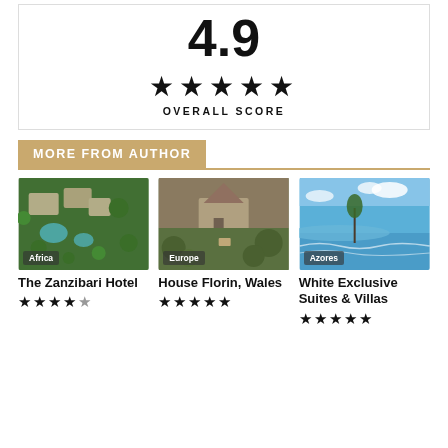4.9
★★★★★ OVERALL SCORE
MORE FROM AUTHOR
[Figure (photo): Aerial view of The Zanzibari Hotel showing pool and tropical trees, region tag: Africa]
The Zanzibari Hotel ★★★★☆
[Figure (photo): Aerial view of House Florin, Wales, a stone building surrounded by trees, region tag: Europe]
House Florin, Wales ★★★★★
[Figure (photo): Coastal view with turquoise water and trees, White Exclusive Suites & Villas, region tag: Azores]
White Exclusive Suites & Villas ★★★★★